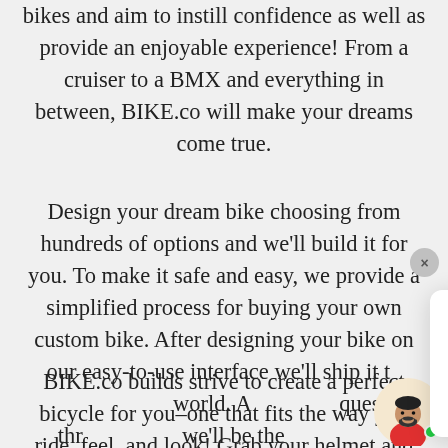bikes and aim to instill confidence as well as provide an enjoyable experience! From a cruiser to a BMX and everything in between, BIKE.co will make your dreams come true.
Design your dream bike choosing from hundreds of options and we'll build it for you. To make it safe and easy, we provide a simplified process for buying your own custom bike. After designing your bike on our easy-to-use interface we'll ship it t... world. An questions thr we'll be the c
[Figure (screenshot): Chat popup bubble with close button (×) in top right corner, containing text: 'Welcome to BIKE.co! Your one-stop-shop for bike rentals, sales, parts & service.']
BIKE.co builds strive to create a perfect bicycle for you–one that fits the way you ride, feel, and look! Grab your helmet and come on
[Figure (illustration): Round avatar of a person with dark beard wearing a red shirt, with a green online status dot, on a light beige/cream circular background.]